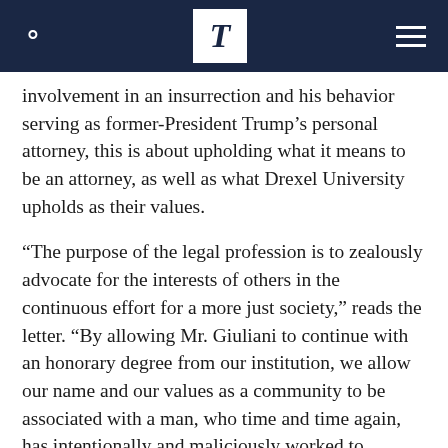T
involvement in an insurrection and his behavior serving as former-President Trump’s personal attorney, this is about upholding what it means to be an attorney, as well as what Drexel University upholds as their values.
“The purpose of the legal profession is to zealously advocate for the interests of others in the continuous effort for a more just society,” reads the letter. “By allowing Mr. Giuliani to continue with an honorary degree from our institution, we allow our name and our values as a community to be associated with a man, who time and time again, has intentionally and maliciously worked to undermine democracy and our democratic process.”